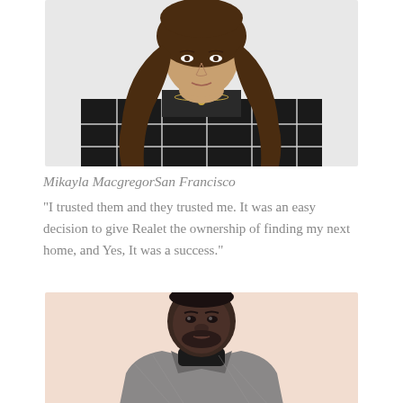[Figure (photo): Woman with long brown hair wearing a black and white checkered shirt with a gold necklace, photographed from shoulders up against a white background.]
Mikayla MacgregorSan Francisco
“I trusted them and they trusted me. It was an easy decision to give Realet the ownership of finding my next home, and Yes, It was a success.”
[Figure (photo): Young Black man wearing a black turtleneck under a grey plaid blazer, photographed from chest up against a peach/cream background.]